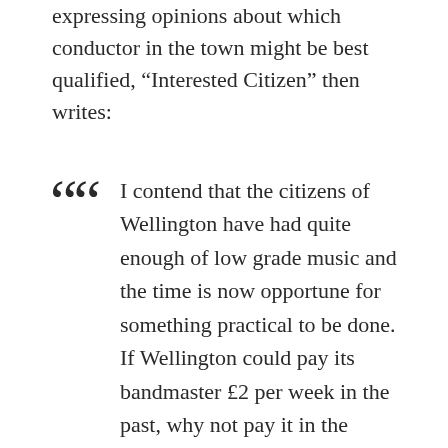expressing opinions about which conductor in the town might be best qualified, “Interested Citizen” then writes:
I contend that the citizens of Wellington have had quite enough of low grade music and the time is now opportune for something practical to be done. If Wellington could pay its bandmaster £2 per week in the past, why not pay it in the future. If we cannot afford £2 for a capable man much less can we afford £1/10 for an incapable man. Wellington wants good music and we all realise that a first class man cannot be procured for a low grade pay. Therefore, I say, Keep up